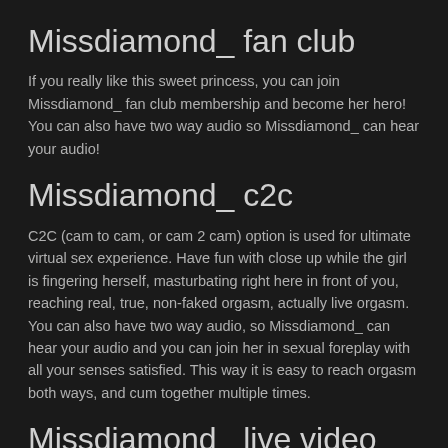Missdiamond_ fan club
If you really like this sweet princess, you can join Missdiamond_ fan club membership and become her hero! You can also have two way audio so Missdiamond_ can hear your audio!
Missdiamond_ c2c
C2C (cam to cam, or cam 2 cam) option is used for ultimate virtual sex experience. Have fun with close up while the girl is fingering herself, masturbating right here in front of you, reaching real, true, non-faked orgasm, actually live orgasm. You can also have two way audio, so Missdiamond_ can hear your audio and you can join her in sexual foreplay with all your senses satisfied. This way it is easy to reach orgasm both ways, and cum together multiple times.
Missdiamond_ live video